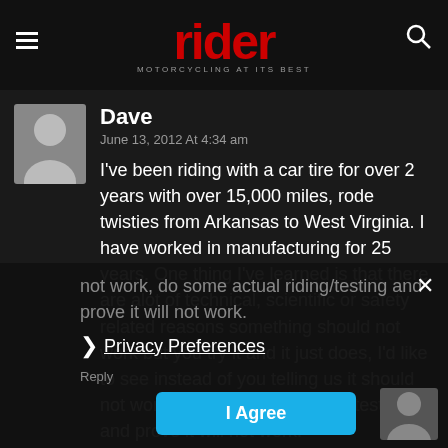rider — MOTORCYCLING AT ITS BEST
Dave
June 13, 2012 At 4:34 am
I've been riding with a car tire for over 2 years with over 15,000 miles, rode twisties from Arkansas to West Virginia. I have worked in manufacturing for 25 years. One thing I've learned is that there are alot of technical, scientific or safety related reasons something should not work but you try it and it just does, I'd like to see instead of you telling us it should not work, do some actual riding/testing and prove it will not work.
Privacy Preferences
I Agree